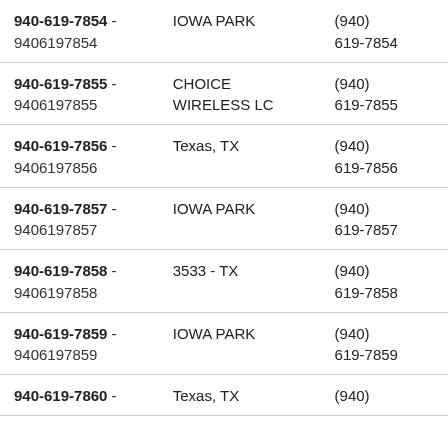| Number | Location | Formatted |
| --- | --- | --- |
| 940-619-7854 - 9406197854 | IOWA PARK | (940) 619-7854 |
| 940-619-7855 - 9406197855 | CHOICE WIRELESS LC | (940) 619-7855 |
| 940-619-7856 - 9406197856 | Texas, TX | (940) 619-7856 |
| 940-619-7857 - 9406197857 | IOWA PARK | (940) 619-7857 |
| 940-619-7858 - 9406197858 | 3533 - TX | (940) 619-7858 |
| 940-619-7859 - 9406197859 | IOWA PARK | (940) 619-7859 |
| 940-619-7860 - | Texas, TX | (940) |